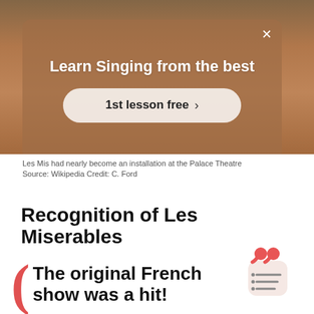[Figure (photo): Advertisement overlay on a photo background showing a person with arms outstretched. The ad modal reads 'Learn Singing from the best' with a button '1st lesson free >']
Les Mis had nearly become an installation at the Palace Theatre
Source: Wikipedia Credit: C. Ford
Recognition of Les Miserables
The original French show was a hit!